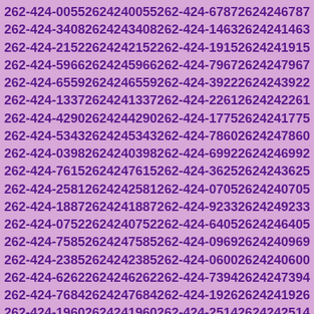262-424-0055 2624240055 262-424-6787 2624246787
262-424-3408 2624243408 262-424-1463 2624241463
262-424-2152 2624242152 262-424-1915 2624241915
262-424-5966 2624245966 262-424-7967 2624247967
262-424-6559 2624246559 262-424-3922 2624243922
262-424-1337 2624241337 262-424-2261 2624242261
262-424-4290 2624244290 262-424-1775 2624241775
262-424-5343 2624245343 262-424-7860 2624247860
262-424-0398 2624240398 262-424-6992 2624246992
262-424-7615 2624247615 262-424-3625 2624243625
262-424-2581 2624242581 262-424-0705 2624240705
262-424-1887 2624241887 262-424-9233 2624249233
262-424-0752 2624240752 262-424-6405 2624246405
262-424-7585 2624247585 262-424-0969 2624240969
262-424-2385 2624242385 262-424-0600 2624240600
262-424-6262 2624246262 262-424-7394 2624247394
262-424-7684 2624247684 262-424-1926 2624241926
262-424-1960 2624241960 262-424-2514 2624242514
262-424-2147 2624242147 262-424-7288 2624247288
262-424-0219 2624240219 262-424-4640 2624244640
262-424-3734 2624243734 262-424-5289 2624245289